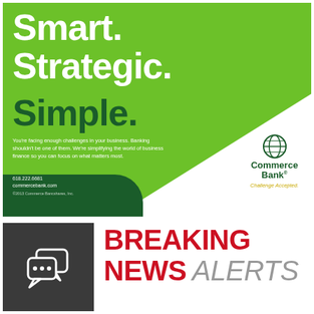[Figure (illustration): Commerce Bank advertisement on green background with white and dark green design. Large white text reads 'Smart. Strategic.' and dark green bold text reads 'Simple.' Body copy: 'You're facing enough challenges in your business. Banking shouldn't be one of them. We're simplifying the world of business finance so you can focus on what matters most.' Contact info: 618.222.6681, commercebank.com. Commerce Bank logo with globe icon and tagline 'Challenge Accepted.']
[Figure (logo): Breaking News Alerts logo: dark gray square with white chat bubble icons on left, red bold 'BREAKING NEWS' text and gray italic 'ALERTS' text on right.]